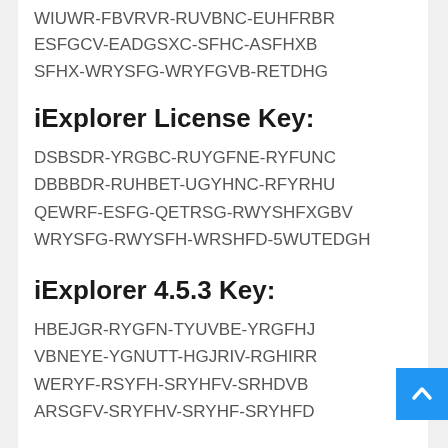WIUWR-FBVRVR-RUVBNC-EUHFRBR
ESFGCV-EADGSXC-SFHC-ASFHXB
SFHX-WRYSFG-WRYFGVB-RETDHG
iExplorer License Key:
DSBSDR-YRGBC-RUYGFNE-RYFUNC
DBBBDR-RUHBET-UGYHNC-RFYRHU
QEWRF-ESFG-QETRSG-RWYSHFXGBV
WRYSFG-RWYSFH-WRSHFD-5WUTEDGH
iExplorer 4.5.3 Key:
HBEJGR-RYGFN-TYUVBE-YRGFHJ
VBNEYE-YGNUTT-HGJRIV-RGHIRR
WERYF-RSYFH-SRYHFV-SRHDVB
ARSGFV-SRYFHV-SRYHF-SRYHFD
How To Activate?